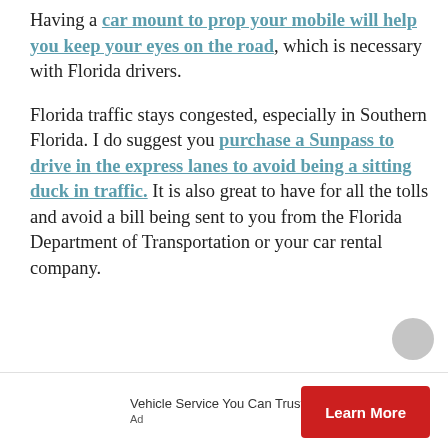Having a car mount to prop your mobile will help you keep your eyes on the road, which is necessary with Florida drivers.

Florida traffic stays congested, especially in Southern Florida. I do suggest you purchase a Sunpass to drive in the express lanes to avoid being a sitting duck in traffic. It is also great to have for all the tolls and avoid a bill being sent to you from the Florida Department of Transportation or your car rental company.
Vehicle Service You Can Trust
Ad